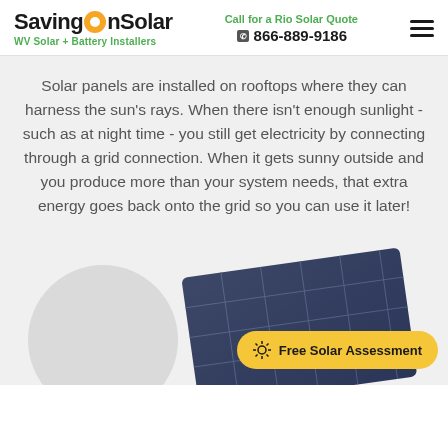SavingOnSolar — WV Solar + Battery Installers | Call for a Rio Solar Quote 866-889-9186
Solar panels are installed on rooftops where they can harness the sun's rays. When there isn't enough sunlight - such as at night time - you still get electricity by connecting through a grid connection. When it gets sunny outside and you produce more than your system needs, that extra energy goes back onto the grid so you can use it later!
[Figure (photo): Solar panel image at the bottom of the page with a gray circular background, and a yellow 'Free Solar Assessment' CTA button overlaid.]